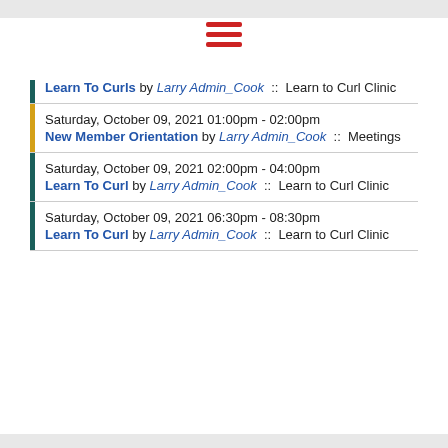[Figure (other): Red hamburger menu icon (three horizontal lines)]
Learn To Curls by Larry Admin_Cook :: Learn to Curl Clinic
Saturday, October 09, 2021 01:00pm - 02:00pm
New Member Orientation by Larry Admin_Cook :: Meetings
Saturday, October 09, 2021 02:00pm - 04:00pm
Learn To Curl by Larry Admin_Cook :: Learn to Curl Clinic
Saturday, October 09, 2021 06:30pm - 08:30pm
Learn To Curl by Larry Admin_Cook :: Learn to Curl Clinic